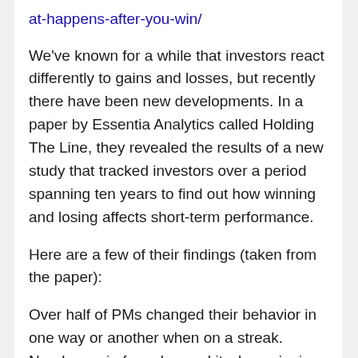at-happens-after-you-win/
We've known for a while that investors react differently to gains and losses, but recently there have been new developments. In a paper by Essentia Analytics called Holding The Line, they revealed the results of a new study that tracked investors over a period spanning ten years to find out how winning and losing affects short-term performance.
Here are a few of their findings (taken from the paper):
Over half of PMs changed their behavior in one way or another when on a streak. Nearly one in four changed it when winning, and 41%